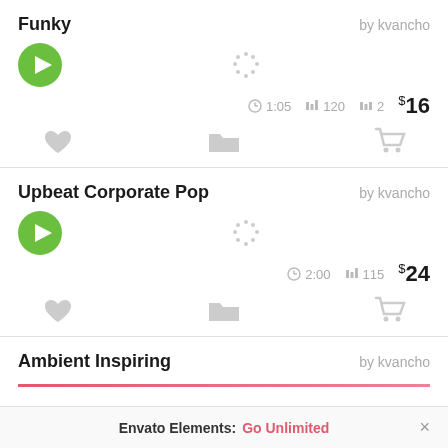Funky
by kvancho
[Figure (other): Green play button circle with white triangle, waveform loading dots, heart icon, folder icon, cart icon. Track duration 1:05, BPM 120, 2 ratings, price $16]
Upbeat Corporate Pop
by kvancho
[Figure (other): Green play button circle with white triangle, waveform loading dots, heart icon, folder icon, cart icon. Track duration 2:00, BPM 115, price $24]
Ambient Inspiring
by kvancho
Envato Elements: Go Unlimited ×